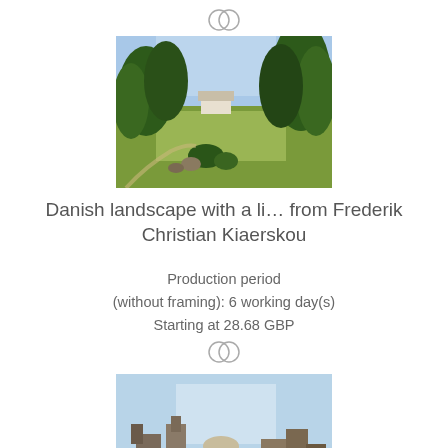[Figure (other): Circular icon with two overlapping rings (compare/wishlist icon)]
[Figure (photo): Painting of a Danish landscape with trees, open field, and a house in the background by Frederik Christian Kiaerskou]
Danish landscape with a li… from Frederik Christian Kiaerskou
Production period (without framing): 6 working day(s)
Starting at 28.68 GBP
[Figure (other): Circular icon with two overlapping rings (compare/wishlist icon)]
[Figure (photo): Partial painting showing a coastal or architectural scene, cropped at bottom of page]